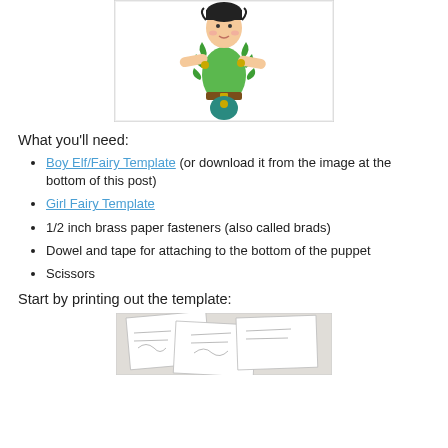[Figure (photo): A paper puppet of a boy elf/fairy dressed in green leaf costume with brass brad joints at shoulders, suspended against a white background.]
What you'll need:
Boy Elf/Fairy Template (or download it from the image at the bottom of this post)
Girl Fairy Template
1/2 inch brass paper fasteners (also called brads)
Dowel and tape for attaching to the bottom of the puppet
Scissors
Start by printing out the template:
[Figure (photo): Printed paper template sheets for the elf/fairy puppet laid on a surface.]